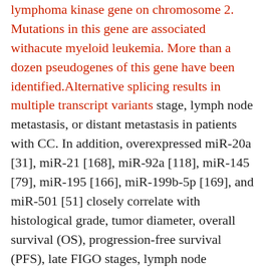lymphoma kinase gene on chromosome 2. Mutations in this gene are associated withacute myeloid leukemia. More than a dozen pseudogenes of this gene have been identified.Alternative splicing results in multiple transcript variants stage, lymph node metastasis, or distant metastasis in patients with CC. In addition, overexpressed miR-20a [31], miR-21 [168], miR-92a [118], miR-145 [79], miR-195 [166], miR-199b-5p [169], and miR-501 [51] closely correlate with histological grade, tumor diameter, overall survival (OS), progression-free survival (PFS), late FIGO stages, lymph node metastasis, or preoperative metastasis. Based on the above conversation, we considered that miRNAs might function as effective tools or potential markers with power in improvements in the